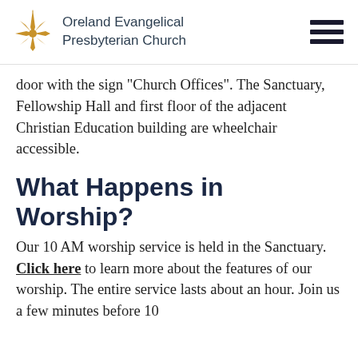Oreland Evangelical Presbyterian Church
door with the sign "Church Offices". The Sanctuary, Fellowship Hall and first floor of the adjacent Christian Education building are wheelchair accessible.
What Happens in Worship?
Our 10 AM worship service is held in the Sanctuary. Click here to learn more about the features of our worship. The entire service lasts about an hour. Join us a few minutes before 10